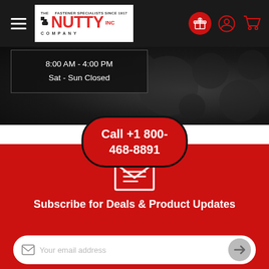[Figure (screenshot): The Nutty Company website header with logo, hamburger menu, and icons for gift, account, and cart on dark background]
8:00 AM - 4:00 PM
Sat - Sun Closed
Call +1 800-468-8891
Subscribe for Deals & Product Updates
Your email address